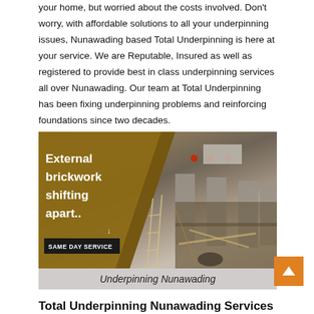your home, but worried about the costs involved. Don't worry, with affordable solutions to all your underpinning issues, Nunawading based Total Underpinning is here at your service. We are Reputable, Insured as well as registered to provide best in class underpinning services all over Nunawading. Our team at Total Underpinning has been fixing underpinning problems and reinforcing foundations since two decades.
[Figure (photo): Construction site showing underpinning work with concrete foundation supports, excavated soil, timber formwork, and tools. Overlay text reads 'External brickwork shifting apart..' with 'SAME DAY SERVICE' badge.]
Underpinning Nunawading
Total Underpinning Nunawading Services